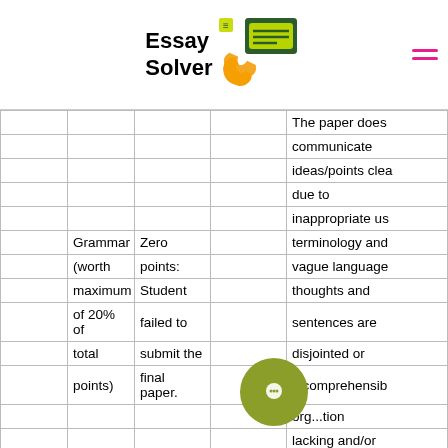Essay Solver
|  |  |  |  |  |
| --- | --- | --- | --- | --- |
|  |  |  |  | The paper does communicate ideas/points clea due to inappropriate us |
| Grammar (worth maximum of 20% of total points) | Zero points: Student failed to submit the final paper. |  |  | terminology and vague language thoughts and sentences are disjointed or incomprehensible org...tion lacking and/or |